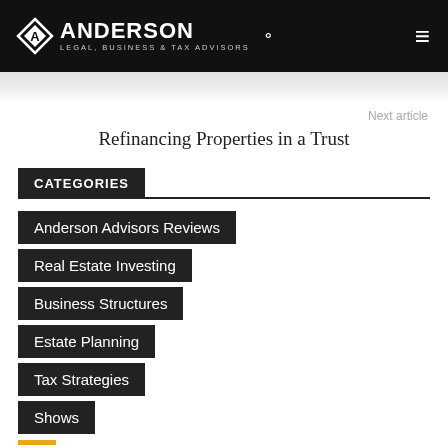ANDERSON LEGAL, BUSINESS & TAX ADVISORS
Next article
Refinancing Properties in a Trust
CATEGORIES
Anderson Advisors Reviews
Real Estate Investing
Business Structures
Estate Planning
Tax Strategies
Shows